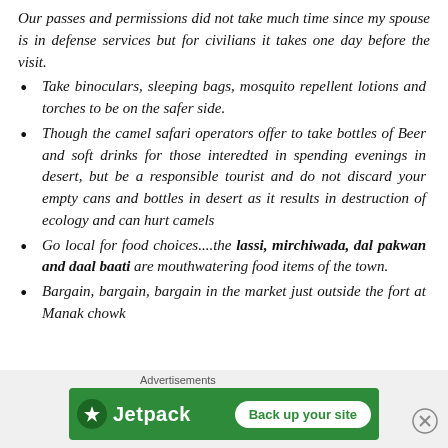Our passes and permissions did not take much time since my spouse is in defense services but for civilians it takes one day before the visit.
Take binoculars, sleeping bags, mosquito repellent lotions and torches to be on the safer side.
Though the camel safari operators offer to take bottles of Beer and soft drinks for those interedted in spending evenings in desert, but be a responsible tourist and do not discard your empty cans and bottles in desert as it results in destruction of ecology and can hurt camels
Go local for food choices....the lassi, mirchiwada, dal pakwan and daal baati are mouthwatering food items of the town.
Bargain, bargain, bargain in the market just outside the fort at Manak chowk
[Figure (screenshot): Jetpack advertisement banner with 'Back up your site' button on green background]
Advertisements